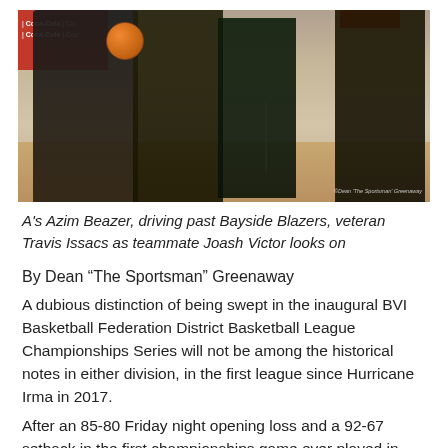[Figure (photo): Basketball action photo showing players in yellow and green jerseys on an indoor court. A player in yellow dribbles past a defender in green, with Coca-Cola banners visible in the background. Watermark reads 'Dean The Sportsman Greenaway'.]
A's Azim Beazer, driving past Bayside Blazers, veteran Travis Issacs as teammate Joash Victor looks on
By Dean “The Sportsman” Greenaway
A dubious distinction of being swept in the inaugural BVI Basketball Federation District Basketball League Championships Series will not be among the historical notes in either division, in the first league since Hurricane Irma in 2017.
After an 85-80 Friday night opening loss and a 92-67 setback in the first championships game ever played in Virgin Gorda on Saturday, the No 6 seeded A’s—in their first championships